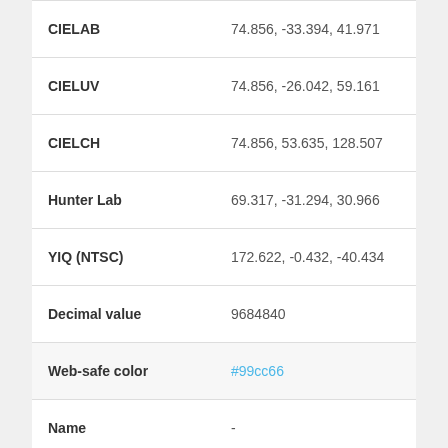| Property | Value |
| --- | --- |
| CIELAB | 74.856, -33.394, 41.971 |
| CIELUV | 74.856, -26.042, 59.161 |
| CIELCH | 74.856, 53.635, 128.507 |
| Hunter Lab | 69.317, -31.294, 30.966 |
| YIQ (NTSC) | 172.622, -0.432, -40.434 |
| Decimal value | 9684840 |
| Web-safe color | #99cc66 |
| Name | - |
Color schemes generator for #93c768
In color theory, a color scheme is the choice of colors used in design.
[Figure (illustration): Two color swatches side by side: left is #93c768 (green), right is #9c6Bc7 (purple)]